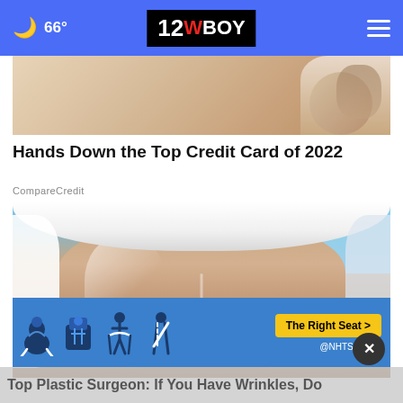66° | 12WBOY
[Figure (photo): Cropped top of an advertisement showing person in white clothing]
Hands Down the Top Credit Card of 2022
CompareCredit
[Figure (photo): Close-up of a woman's face with a facial treatment/mask, wearing a white towel wrap on her head, eyes closed]
[Figure (photo): NHTSA 'The Right Seat' advertisement banner with car seat safety icons]
Top Plastic Surgeon: If You Have Wrinkles, Do